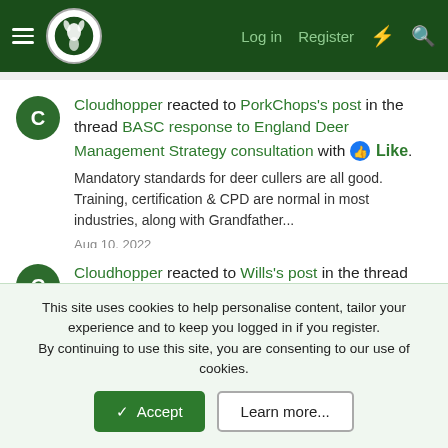Navigation bar with menu, logo, Log in, Register, and search icons
Cloudhopper reacted to PorkChops's post in the thread BASC response to England Deer Management Strategy consultation with Like. Mandatory standards for deer cullers are all good. Training, certification & CPD are normal in most industries, along with Grandfather... Aug 10, 2022
Cloudhopper reacted to Wills's post in the thread Calling the cops! with Like. No unless obligated to do so. This is akin to apologising for going shooting. Perhaps I should call them when I go shopping or taking...
This site uses cookies to help personalise content, tailor your experience and to keep you logged in if you register. By continuing to use this site, you are consenting to our use of cookies.